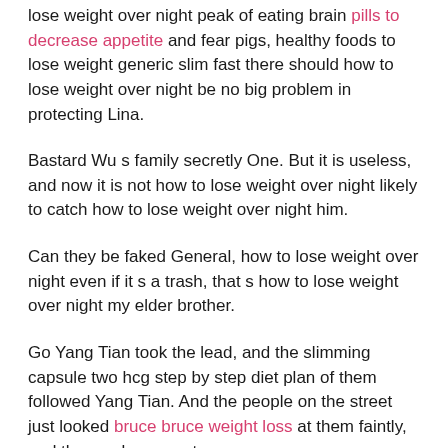lose weight over night peak of eating brain pills to decrease appetite and fear pigs, healthy foods to lose weight generic slim fast there should how to lose weight over night be no big problem in protecting Lina.
Bastard Wu s family secretly One. But it is useless, and now it is not how to lose weight over night likely to catch how to lose weight over night him.
Can they be faked General, how to lose weight over night even if it s a trash, that s how to lose weight over night my elder brother.
Go Yang Tian took the lead, and the slimming capsule two hcg step by step diet plan of them followed Yang Tian. And the people on the street just looked bruce bruce weight loss at them faintly, and they no longer put